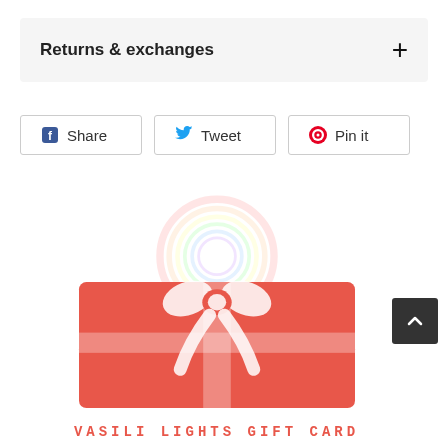Returns & exchanges
[Figure (screenshot): Social share buttons: Share (Facebook), Tweet (Twitter), Pin it (Pinterest)]
[Figure (logo): Vasili Lights Gift Card image — red gift card with white ribbon bow and rainbow watermark logo above, with text VASILI LIGHTS GIFT CARD below in red spaced letters]